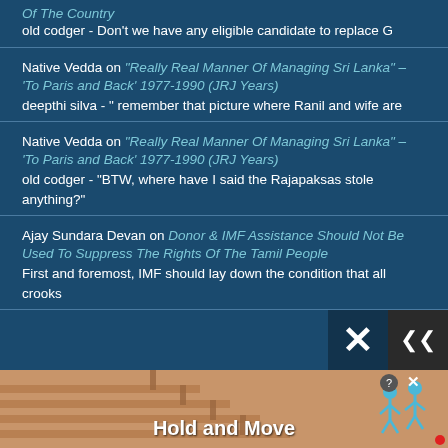Of The Country
old codger - Don't we have any eligible candidate to replace G
Native Vedda on “Really Real Manner Of Managing Sri Lanka” – ‘To Paris and Back’ 1977-1990 (JRJ Years)
deepthi silva - " remember that picture where Ranil and wife are
Native Vedda on “Really Real Manner Of Managing Sri Lanka” – ‘To Paris and Back’ 1977-1990 (JRJ Years)
old codger - "BTW, where have I said the Rajapaksas stole anything?"
Ajay Sundara Devan on Donor & IMF Assistance Should Not Be Used To Suppress The Rights Of The Tamil People
First and foremost, IMF should lay down the condition that all crooks
[Figure (screenshot): Advertisement banner at the bottom showing figures and text 'Hold and Move' with close/question buttons]